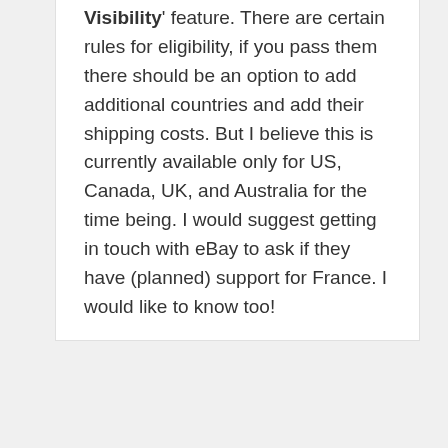Visibility feature. There are certain rules for eligibility, if you pass them there should be an option to add additional countries and add their shipping costs. But I believe this is currently available only for US, Canada, UK, and Australia for the time being. I would suggest getting in touch with eBay to ask if they have (planned) support for France. I would like to know too!
Reply
Francesco
April 28, 2016 at 3:57 pm